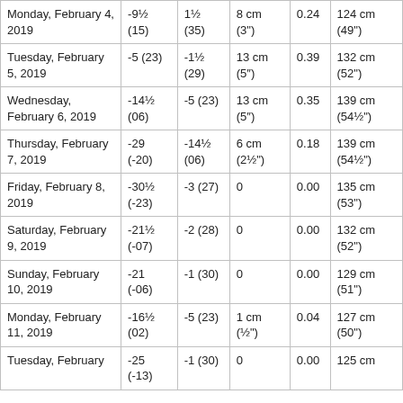| Monday, February 4, 2019 | -9½ (15) | 1½ (35) | 8 cm (3") | 0.24 | 124 cm (49") |
| Tuesday, February 5, 2019 | -5 (23) | -1½ (29) | 13 cm (5″) | 0.39 | 132 cm (52") |
| Wednesday, February 6, 2019 | -14½ (06) | -5 (23) | 13 cm (5″) | 0.35 | 139 cm (54½") |
| Thursday, February 7, 2019 | -29 (-20) | -14½ (06) | 6 cm (2½") | 0.18 | 139 cm (54½") |
| Friday, February 8, 2019 | -30½ (-23) | -3 (27) | 0 | 0.00 | 135 cm (53") |
| Saturday, February 9, 2019 | -21½ (-07) | -2 (28) | 0 | 0.00 | 132 cm (52") |
| Sunday, February 10, 2019 | -21 (-06) | -1 (30) | 0 | 0.00 | 129 cm (51") |
| Monday, February 11, 2019 | -16½ (02) | -5 (23) | 1 cm (½") | 0.04 | 127 cm (50") |
| Tuesday, February ... | -25 (-13) | -1 (30) | 0 | 0.00 | 125 cm ... |